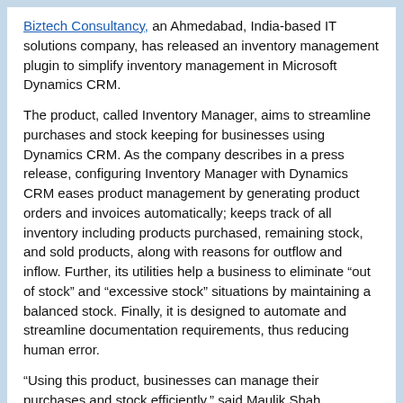Biztech Consultancy, an Ahmedabad, India-based IT solutions company, has released an inventory management plugin to simplify inventory management in Microsoft Dynamics CRM.
The product, called Inventory Manager, aims to streamline purchases and stock keeping for businesses using Dynamics CRM. As the company describes in a press release, configuring Inventory Manager with Dynamics CRM eases product management by generating product orders and invoices automatically; keeps track of all inventory including products purchased, remaining stock, and sold products, along with reasons for outflow and inflow. Further, its utilities help a business to eliminate “out of stock” and “excessive stock” situations by maintaining a balanced stock. Finally, it is designed to automate and streamline documentation requirements, thus reducing human error.
“Using this product, businesses can manage their purchases and stock efficiently,” said Maulik Shah, Biztech’s CEO, in a statement. “Moreover, accurate data facilitates mission critical information which you can further utilize to make right decisions for your business.”
Cost Model Speeds